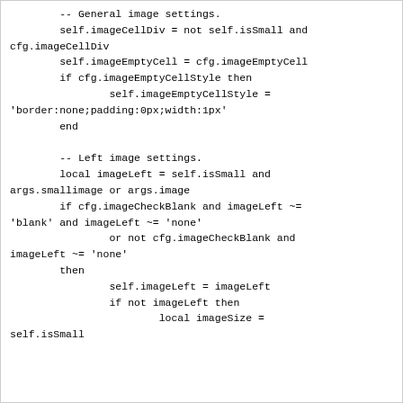-- General image settings.
        self.imageCellDiv = not self.isSmall and cfg.imageCellDiv
        self.imageEmptyCell = cfg.imageEmptyCell
        if cfg.imageEmptyCellStyle then
                self.imageEmptyCellStyle =
'border:none;padding:0px;width:1px'
        end

        -- Left image settings.
        local imageLeft = self.isSmall and
args.smallimage or args.image
        if cfg.imageCheckBlank and imageLeft ~=
'blank' and imageLeft ~= 'none'
                or not cfg.imageCheckBlank and
imageLeft ~= 'none'
        then
                self.imageLeft = imageLeft
                if not imageLeft then
                        local imageSize =
self.isSmall